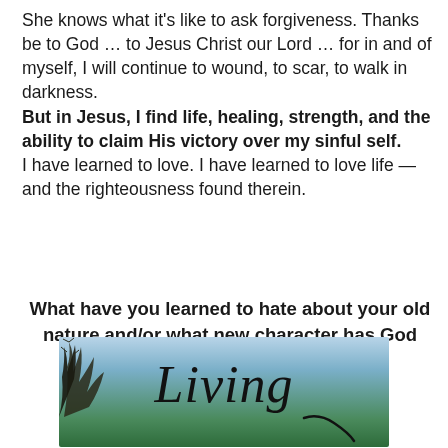She knows what it's like to ask forgiveness. Thanks be to God ... to Jesus Christ our Lord ... for in and of myself, I will continue to wound, to scar, to walk in darkness. But in Jesus, I find life, healing, strength, and the ability to claim His victory over my sinful self. I have learned to love. I have learned to love life — and the righteousness found therein.
What have you learned to hate about your old nature and/or what new character has God recently taught you?
[Figure (photo): Outdoor scene with trees silhouetted against a light blue sky, green treeline in the background, with cursive script text 'Living' overlaid in large black italic font.]